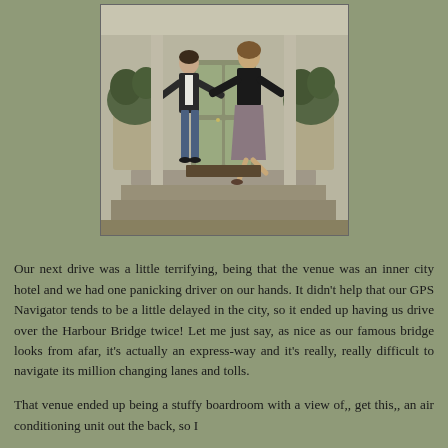[Figure (photo): Two women posing playfully in front of a building entrance with potted plants on either side. One woman wears a dark blazer and jeans, the other wears a dark top and purple/gray skirt. They are on steps leading to a door.]
Our next drive was a little terrifying, being that the venue was an inner city hotel and we had one panicking driver on our hands. It didn't help that our GPS Navigator tends to be a little delayed in the city, so it ended up having us drive over the Harbour Bridge twice! Let me just say, as nice as our famous bridge looks from afar, it's actually an express-way and it's really, really difficult to navigate its million changing lanes and tolls.
That venue ended up being a stuffy boardroom with a view of,, get this,, an air conditioning unit out the back, so I